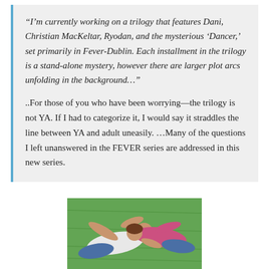“I’m currently working on a trilogy that features Dani, Christian MacKeltar, Ryodan, and the mysterious ‘Dancer,’ set primarily in Fever-Dublin. Each installment in the trilogy is a stand-alone mystery, however there are larger plot arcs unfolding in the background…
..For those of you who have been worrying—the trilogy is not YA. If I had to categorize it, I would say it straddles the line between YA and adult uneasily. …Many of the questions I left unanswered in the FEVER series are addressed in this new series.
[Figure (photo): Two people (a man and a woman) lying on green grass, viewed from above. The man is in a white shirt and jeans, the woman in a pink/magenta top and jeans.]